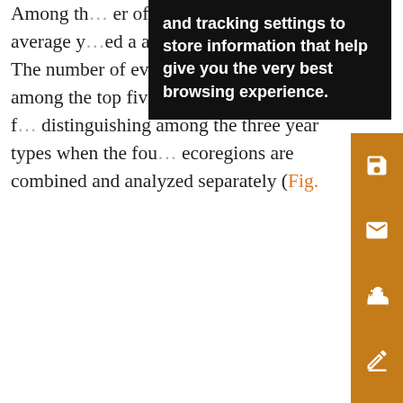Among the … and tracking settings to store information that help give you the very best browsing experience. … number of events ≥1 … distinguis… average y… analyzed separately (Fig. ). The number of events ≥20 mm is also among the top five most important indices for distinguishing among the three year types when the four ecoregions are combined and analyzed separately (Fig.
[Figure (other): Large blank figure area placeholder below the text]
con of 1 pre indi dive